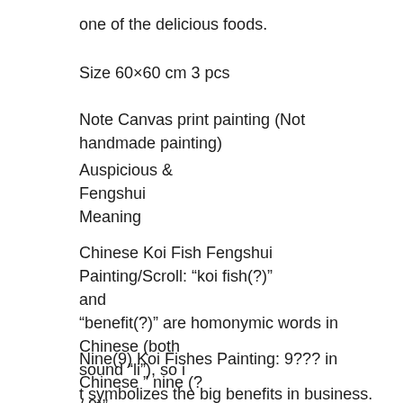one of the delicious foods.
Size 60×60 cm 3 pcs
Note Canvas print painting (Not handmade painting)
Auspicious &
Fengshui
Meaning
Chinese Koi Fish Fengshui Painting/Scroll: “koi fish(?)” and
“benefit(?)” are homonymic words in Chinese (both sound “li”), so i
t symbolizes the big benefits in business.
Nine(9) Koi Fishes Painting: 9??? in Chinese ” nine (? / 9)”
sounds the same as the word “permanence (?)” , so 9